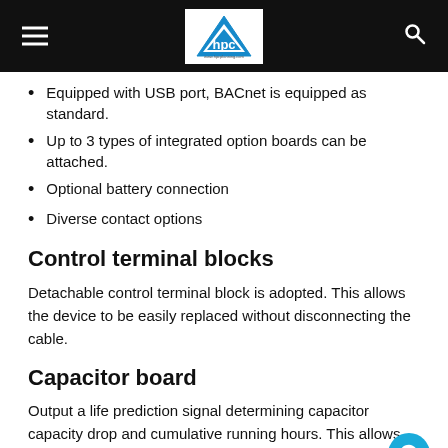HPC logo header with hamburger menu and search icon
Equipped with USB port, BACnet is equipped as standard.
Up to 3 types of integrated option boards can be attached.
Optional battery connection
Diverse contact options
Control terminal blocks
Detachable control terminal block is adopted. This allows the device to be easily replaced without disconnecting the cable.
Capacitor board
Output a life prediction signal determining capacitor capacity drop and cumulative running hours. This allows users to capture replacement periods.